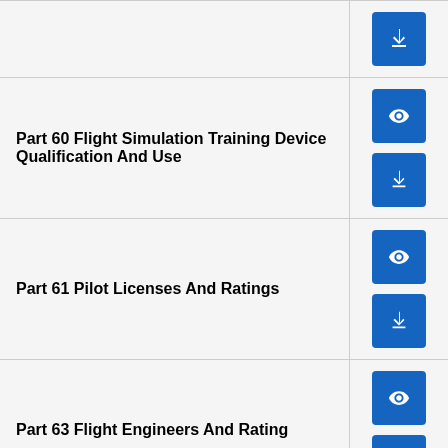| Document | Actions |
| --- | --- |
| Part 60 Flight Simulation Training Device Qualification And Use | view, download |
| Part 61 Pilot Licenses And Ratings | view, download |
| Part 63 Flight Engineers And Rating | view, download |
| Part 65 Air Traffic Service Personnel Licences And Ratings | view, download |
| Part 66 Aircraft Maintenance Engineer | view |